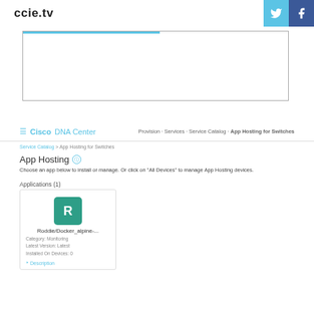ccie.tv
[Figure (screenshot): Screenshot of a web browser showing a video player or content area with a blue progress bar]
Cisco DNA Center - Provision · Services · Service Catalog · App Hosting for Switches
Service Catalog > App Hosting for Switches
App Hosting
Choose an app below to install or manage. Or click on "All Devices" to manage App Hosting devices.
Applications (1)
[Figure (screenshot): App card showing Roddie/Docker_alpine-... application with green R icon, Category: Monitoring, Latest Version: Latest, Installed On Devices: 0, with Description link]